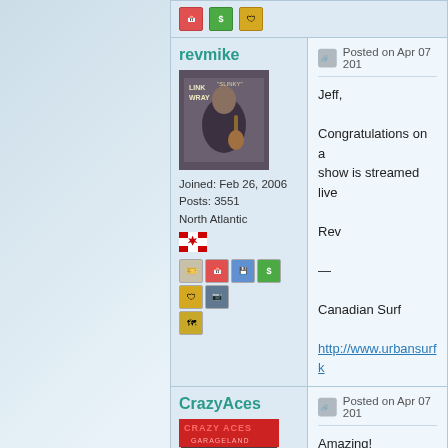[Figure (screenshot): Forum post icons row at top]
revmike
[Figure (photo): Link Wray Slinky album cover avatar]
Joined: Feb 26, 2006
Posts: 3551
North Atlantic
[Figure (illustration): Canadian flag icon]
[Figure (infographic): Forum action icons row]
Posted on Apr 07 201
Jeff,

Congratulations on a...
show is streamed live...

Rev

—

Canadian Surf

http://www.urbansurfk...
CrazyAces
[Figure (photo): Crazy Aces Garageland band photo]
Posted on Apr 07 201
Amazing!
We're so stoked and ...
Wow, just wow Jeff!

Cheers,
Jeff